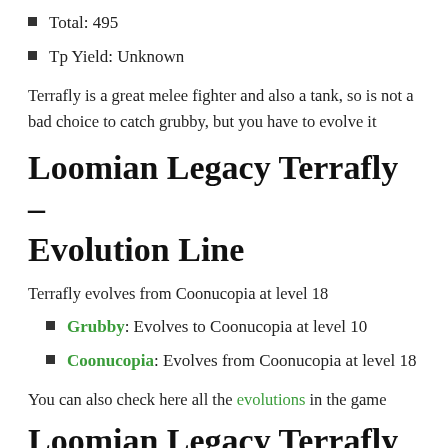Total: 495
Tp Yield: Unknown
Terrafly is a great melee fighter and also a tank, so is not a bad choice to catch grubby, but you have to evolve it
Loomian Legacy Terrafly – Evolution Line
Terrafly evolves from Coonucopia at level 18
Grubby: Evolves to Coonucopia at level 10
Coonucopia: Evolves from Coonucopia at level 18
You can also check here all the evolutions in the game
Loomian Legacy Terrafly –